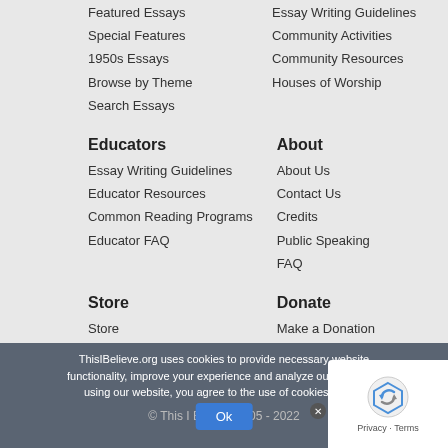Featured Essays
Essay Writing Guidelines
Special Features
Community Activities
1950s Essays
Community Resources
Browse by Theme
Houses of Worship
Search Essays
Educators
About
Essay Writing Guidelines
About Us
Educator Resources
Contact Us
Common Reading Programs
Credits
Educator FAQ
Public Speaking
FAQ
Store
Donate
Store
Make a Donation
My Account/Log Out
Order Tracking
Shopping Cart
Checkout
ThisIBelieve.org uses cookies to provide necessary website functionality, improve your experience and analyze our traffic. By using our website, you agree to the use of cookies on this
© This I Believe 2005 - 2022